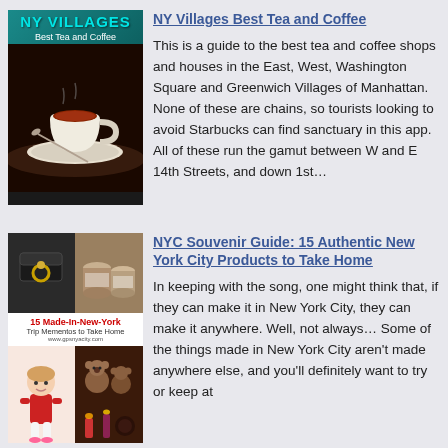[Figure (illustration): NY Villages Best Tea and Coffee book cover with a cup of tea/coffee photo]
NY Villages Best Tea and Coffee
This is a guide to the best tea and coffee shops and houses in the East, West, Washington Square and Greenwich Villages of Manhattan. None of these are chains, so tourists looking to avoid Starbucks can find sanctuary in this app. All of these run the gamut between W and E 14th Streets, and down 1st…
[Figure (illustration): 15 Made-In-New-York Trip Mementos to Take Home – collage of NYC souvenir products]
NYC Souvenir Guide: 15 Authentic New York City Products to Take Home
In keeping with the song, one might think that, if they can make it in New York City, they can make it anywhere. Well, not always… Some of the things made in New York City aren't made anywhere else, and you'll definitely want to try or keep at